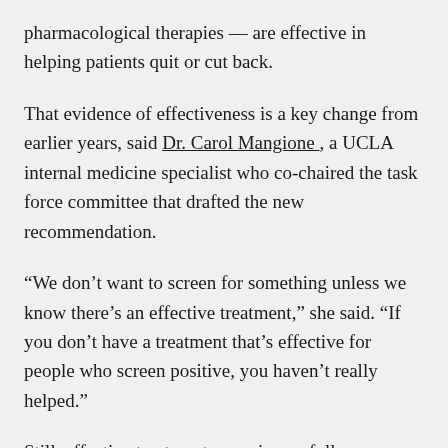pharmacological therapies — are effective in helping patients quit or cut back.
That evidence of effectiveness is a key change from earlier years, said Dr. Carol Mangione , a UCLA internal medicine specialist who co-chaired the task force committee that drafted the new recommendation.
“We don’t want to screen for something unless we know there’s an effective treatment,” she said. “If you don’t have a treatment that’s effective for people who screen positive, you haven’t really helped.”
Still, effective treatments remain woefully underused, experts say.
The drug regimens that are most useful for combating addiction